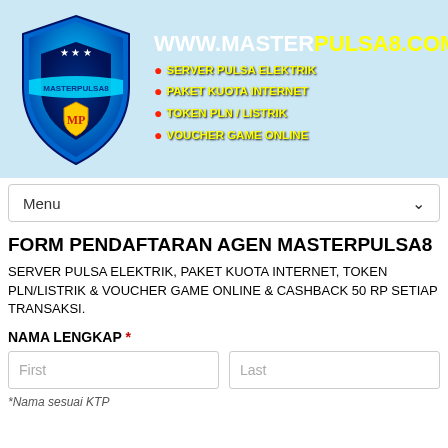[Figure (logo): MasterPulsa8 shield logo with blue/cyan shield shape, stars, MP initials, and cyan ribbon banner. Header banner includes website URL www.masterpulsa8.com and bullet list of services.]
Menu
FORM PENDAFTARAN AGEN MASTERPULSA8
SERVER PULSA ELEKTRIK, PAKET KUOTA INTERNET, TOKEN PLN/LISTRIK & VOUCHER GAME ONLINE & CASHBACK 50 RP SETIAP TRANSAKSI.
NAMA LENGKAP *
*Nama sesuai KTP